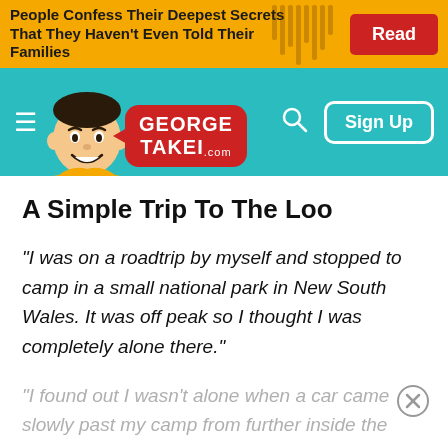[Figure (screenshot): Advertisement banner with yellow background. Text: 'People Confess Their Deepest Secrets That They Haven't Even Told Their Families' with a red 'Read' button on the right.]
[Figure (screenshot): George Takei website navigation bar with teal background, hamburger menu, cartoon George Takei face, red speech bubble logo with 'GEORGE TAKEI .com', search icon, and 'Sign Up' button.]
A Simple Trip To The Loo
"I was on a roadtrip by myself and stopped to camp in a small national park in New South Wales. It was off peak so I thought I was completely alone there."
"I found out I wasn't alone when a car came slowly past my camp from further inside the